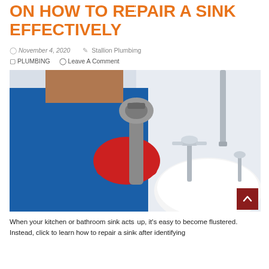ON HOW TO REPAIR A SINK EFFECTIVELY
November 4, 2020   Stallion Plumbing
PLUMBING   Leave A Comment
[Figure (photo): A plumber in a blue polo shirt and red gloves holding a large adjustable wrench, standing in front of a white bathroom sink with chrome faucets.]
When your kitchen or bathroom sink acts up, it's easy to become flustered. Instead, click to learn how to repair a sink after identifying